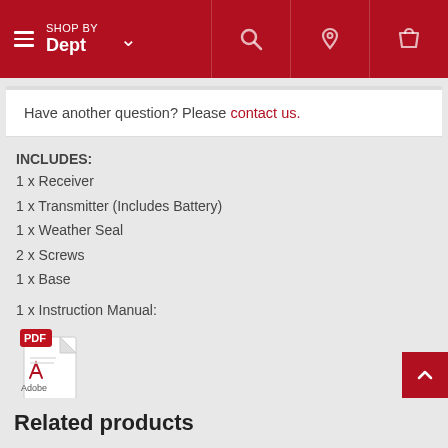SHOP BY Dept
Have another question? Please contact us.
INCLUDES:
1 x Receiver
1 x Transmitter (Includes Battery)
1 x Weather Seal
2 x Screws
1 x Base
1 x Instruction Manual:
[Figure (illustration): Adobe PDF icon showing a red PDF badge over a document with Adobe logo]
Related products